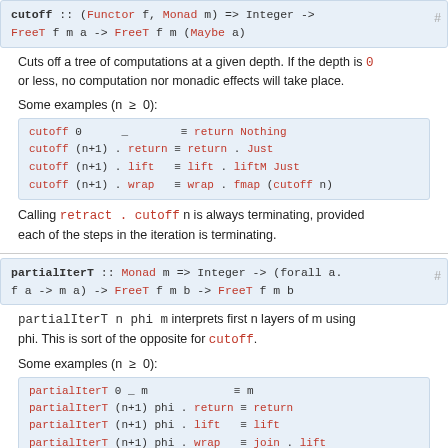cutoff :: (Functor f, Monad m) => Integer -> FreeT f m a -> FreeT f m (Maybe a)   #
Cuts off a tree of computations at a given depth. If the depth is 0 or less, no computation nor monadic effects will take place.
Some examples (n ≥ 0):
cutoff 0      _        ≡ return Nothing
cutoff (n+1) . return ≡ return . Just
cutoff (n+1) . lift   ≡ lift . liftM Just
cutoff (n+1) . wrap   ≡ wrap . fmap (cutoff n)
Calling retract . cutoff n is always terminating, provided each of the steps in the iteration is terminating.
partialIterT :: Monad m => Integer -> (forall a. f a -> m a) -> FreeT f m b -> FreeT f m b   #
partialIterT n phi m interprets first n layers of m using phi. This is sort of the opposite for cutoff.
Some examples (n ≥ 0):
partialIterT 0 _ m          ≡ m
partialIterT (n+1) phi . return ≡ return
partialIterT (n+1) phi . lift   ≡ lift
partialIterT (n+1) phi . wrap   ≡ join . lift ...